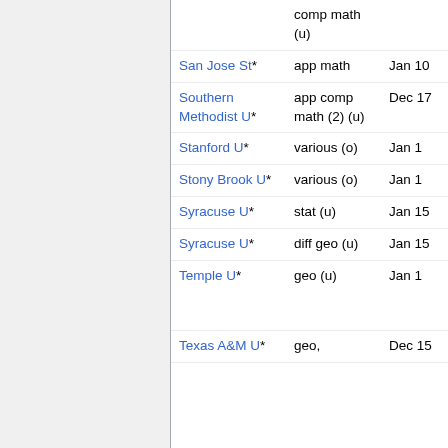| Institution | Area | Deadline | Contact |
| --- | --- | --- | --- |
|  | comp math (u) |  |  |
| San Jose St* | app math | Jan 10 | Walter Rus... |
| Southern Methodist U* | app comp math (2) (u) | Dec 17 |  |
| Stanford U* | various (o) | Jan 1 | Maryanthenthe Malliaris |
| Stony Brook U* | various (o) | Jan 1 | Song Sun |
| Syracuse U* | stat (u) | Jan 15 |  |
| Syracuse U* | diff geo (u) | Jan 15 |  |
| Temple U* | geo (u) | Jan 1 | Jayadev Athreya, Eugene Gorsky, Matthew Stover |
| Texas A&M U* | geo, | Dec 15 | Dean Bash... |